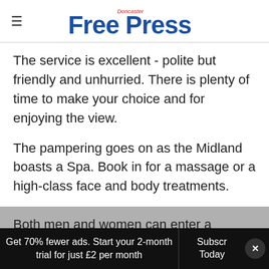Doncaster Free Press
The service is excellent - polite but friendly and unhurried. There is plenty of time to make your choice and for enjoying the view.
The pampering goes on as the Midland boasts a Spa. Book in for a massage or a high-class face and body treatments.
Both men and women can enter a relaxing and calming atmosphere. Reflexology, holistic,
Get 70% fewer ads. Start your 2-month trial for just £2 per month   Subscribe Today